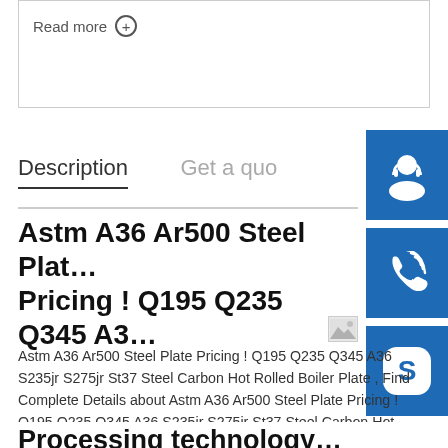Read more ⊕
Description
Get a quo…
Astm A36 Ar500 Steel Plate Pricing ! Q195 Q235 Q345 A36…
Astm A36 Ar500 Steel Plate Pricing ! Q195 Q235 Q345 A36 S235jr S275jr St37 Steel Carbon Hot Rolled Boiler Plate , Find Complete Details about Astm A36 Ar500 Steel Plate Pricing ! Q195 Q235 Q345 A36 S235jr S275jr St37 Steel Carbon Hot Rolled Boiler Plate Hot Rolled
Processing technology…